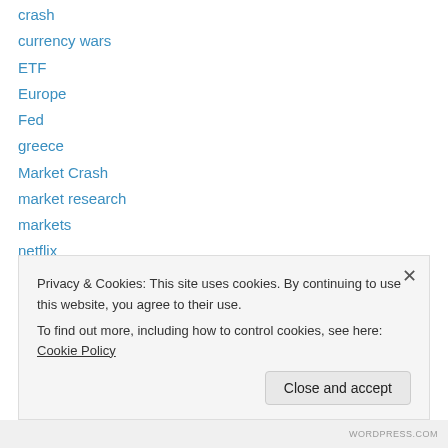crash
currency wars
ETF
Europe
Fed
greece
Market Crash
market research
markets
netflix
stock market
technology
Turkey, Russia, NATO
Privacy & Cookies: This site uses cookies. By continuing to use this website, you agree to their use.
To find out more, including how to control cookies, see here: Cookie Policy
WORDPRESS.COM